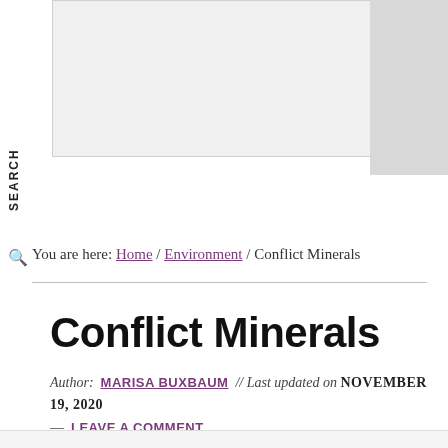[Figure (screenshot): Search bar UI element with gray background and 'SEARCH' label rotated vertically on the left side]
You are here: Home / Environment / Conflict Minerals
Conflict Minerals
Author: MARISA BUXBAUM // Last updated on NOVEMBER 19, 2020 — LEAVE A COMMENT